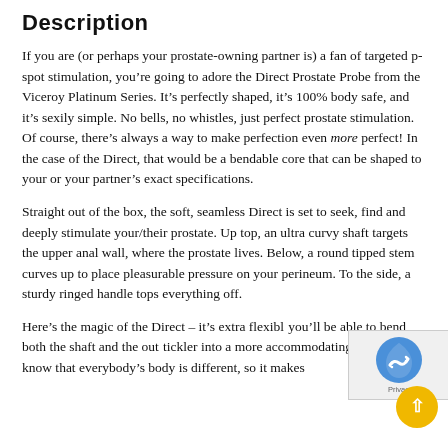Description
If you are (or perhaps your prostate-owning partner is) a fan of targeted p-spot stimulation, you’re going to adore the Direct Prostate Probe from the Viceroy Platinum Series. It’s perfectly shaped, it’s 100% body safe, and it’s sexily simple. No bells, no whistles, just perfect prostate stimulation. Of course, there’s always a way to make perfection even more perfect! In the case of the Direct, that would be a bendable core that can be shaped to your or your partner’s exact specifications.
Straight out of the box, the soft, seamless Direct is set to seek, find and deeply stimulate your/their prostate. Up top, an ultra curvy shaft targets the upper anal wall, where the prostate lives. Below, a round tipped stem curves up to place pleasurable pressure on your perineum. To the side, a sturdy ringed handle tops everything off.
Here’s the magic of the Direct – it’s extra flexibl... you’ll be able to bend both the shaft and the out... tickler into a more accommodating shape. We a... know that everybody’s body is different, so it makes...